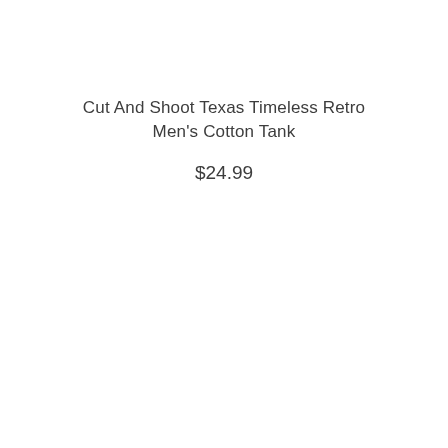Cut And Shoot Texas Timeless Retro Men's Cotton Tank
$24.99